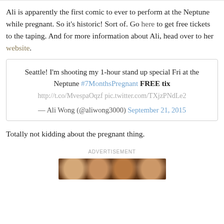Ali is apparently the first comic to ever to perform at the Neptune while pregnant. So it's historic! Sort of. Go here to get free tickets to the taping. And for more information about Ali, head over to her website.
[Figure (screenshot): Embedded tweet from Ali Wong (@aliwong3000) dated September 21, 2015: 'Seattle! I'm shooting my 1-hour stand up special Fri at the Neptune #7MonthsPregnant FREE tix http://t.co/MvespaOqzf pic.twitter.com/TXjzPNdLe2']
Totally not kidding about the pregnant thing.
ADVERTISEMENT
[Figure (photo): Advertisement image showing group of people]